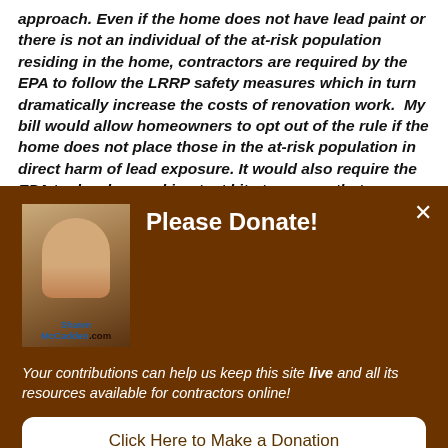approach. Even if the home does not have lead paint or there is not an individual of the at-risk population residing in the home, contractors are required by the EPA to follow the LRRP safety measures which in turn dramatically increase the costs of renovation work.  My bill would allow homeowners to opt out of the rule if the home does not place those in the at-risk population in direct harm of lead exposure. It would also require the EPA to develop working test kits to ensure that contractors have the ability to
[Figure (photo): Photo of Shawn McCadden with watermark label 'ShawnMcCadden.com']
Please Donate!
Your contributions can help us keep this site live and all its resources available for contractors online!
Click Here to Make a Donation